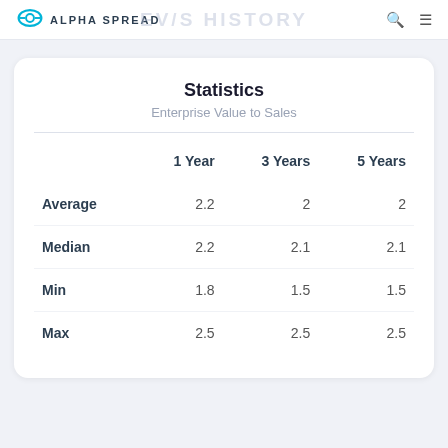ALPHA SPREAD | EV/S HISTORY
Statistics
Enterprise Value to Sales
|  | 1 Year | 3 Years | 5 Years |
| --- | --- | --- | --- |
| Average | 2.2 | 2 | 2 |
| Median | 2.2 | 2.1 | 2.1 |
| Min | 1.8 | 1.5 | 1.5 |
| Max | 2.5 | 2.5 | 2.5 |